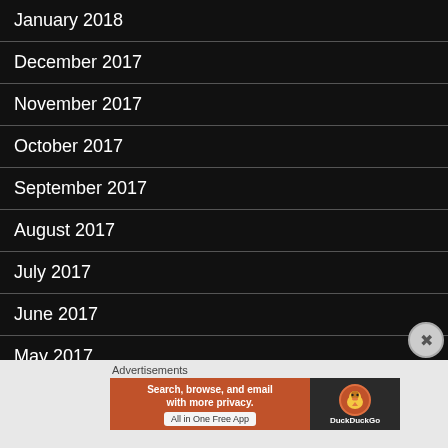January 2018
December 2017
November 2017
October 2017
September 2017
August 2017
July 2017
June 2017
May 2017
April 2017
Advertisements
[Figure (infographic): DuckDuckGo advertisement banner: orange left side with text 'Search, browse, and email with more privacy. All in One Free App', dark right side with DuckDuckGo logo and duck icon.]